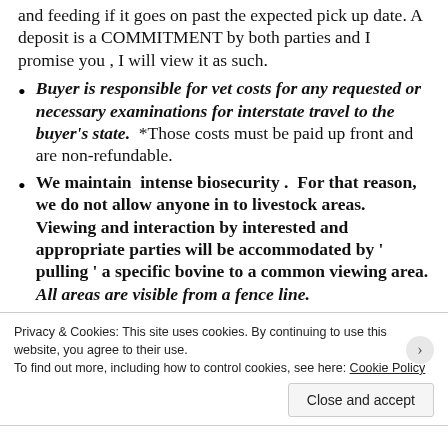and feeding if it goes on past the expected pick up date. A deposit is a COMMITMENT by both parties and I promise you , I will view it as such.
Buyer is responsible for vet costs for any requested or necessary examinations for interstate travel to the buyer's state. *Those costs must be paid up front and are non-refundable.
We maintain intense biosecurity . For that reason, we do not allow anyone in to livestock areas. Viewing and interaction by interested and appropriate parties will be accommodated by ' pulling ' a specific bovine to a common viewing area. All areas are visible from a fence line.
We NO LONGER DO SPECIALTY TESTING FOR POTENTIAL BUYERS as we have found it to be unnecessarily time
Privacy & Cookies: This site uses cookies. By continuing to use this website, you agree to their use.
To find out more, including how to control cookies, see here: Cookie Policy